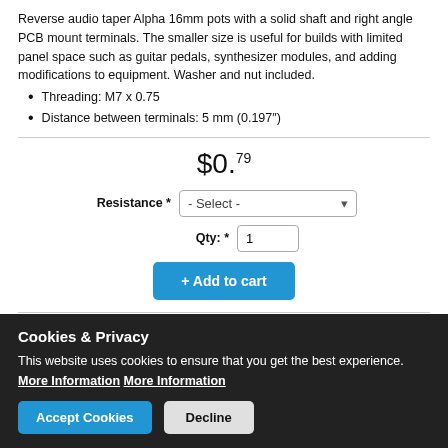Reverse audio taper Alpha 16mm pots with a solid shaft and right angle PCB mount terminals. The smaller size is useful for builds with limited panel space such as guitar pedals, synthesizer modules, and adding modifications to equipment. Washer and nut included.
Threading: M7 x 0.75
Distance between terminals: 5 mm (0.197")
$0.79
Resistance * - Select -
Qty: * 1
+ Add to cart
[Figure (photo): Black rotary knob product image]
Cookies & Privacy
This website uses cookies to ensure that you get the best experience. More Information More Information
Accept Cookies   Decline